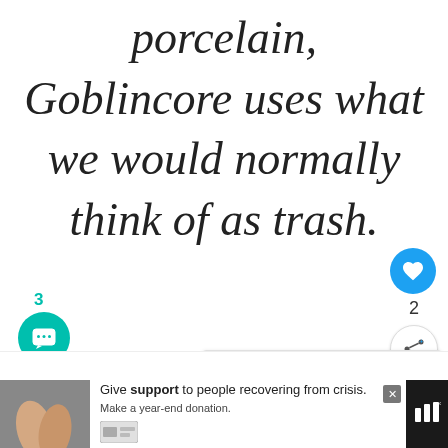porcelain, Goblincore uses what we would normally think of as trash.
[Figure (infographic): Like button (heart icon, blue circle) with count of 2, and share button below it on the right side]
[Figure (infographic): Comment button (chat icon, teal/green circle) with count of 3 on the left side]
[Figure (infographic): What's Next panel showing thumbnail and text: Enroll Today at Strixhave...]
[Figure (infographic): Bottom advertisement bar: Give support to people recovering from crisis. Make a year-end donation.]